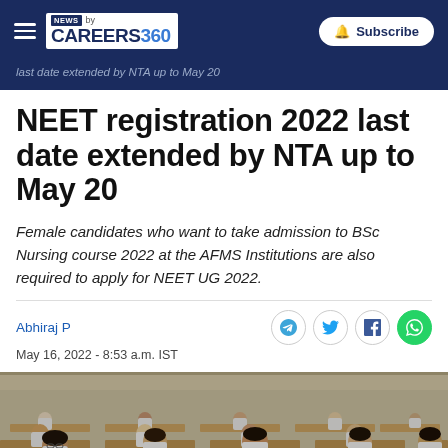NEWS by CAREERS360 | Subscribe
last date extended by NTA up to May 20
NEET registration 2022 last date extended by NTA up to May 20
Female candidates who want to take admission to BSc Nursing course 2022 at the AFMS Institutions are also required to apply for NEET UG 2022.
Abhiraj P
May 16, 2022 - 8:53 a.m. IST
[Figure (photo): Students sitting at desks in an exam hall, wearing white lab coats, writing on papers]